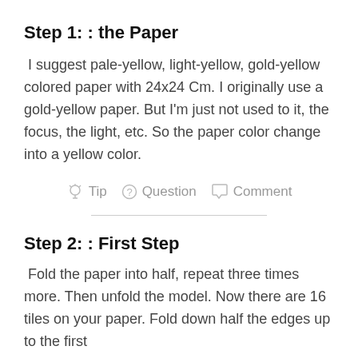Step 1: : the Paper
I suggest pale-yellow, light-yellow, gold-yellow colored paper with 24x24 Cm. I originally use a gold-yellow paper. But I'm just not used to it, the focus, the light, etc. So the paper color change into a yellow color.
Tip   Question   Comment
Step 2: : First Step
Fold the paper into half, repeat three times more. Then unfold the model. Now there are 16 tiles on your paper. Fold down half the edges up to the first